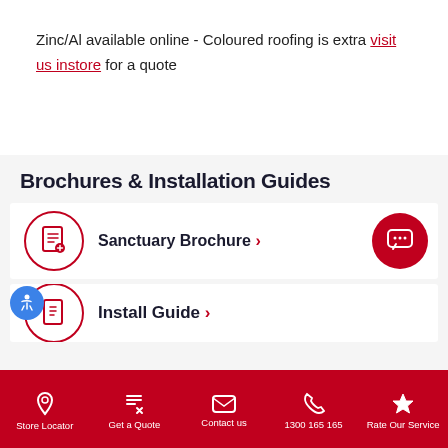Zinc/Al available online - Coloured roofing is extra visit us instore for a quote
Brochures & Installation Guides
Sanctuary Brochure
Install Guide
Store Locator | Get a Quote | Contact us | 1300 165 165 | Rate Our Service